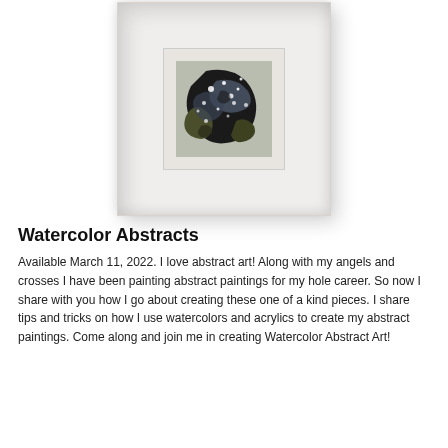[Figure (photo): A small abstract watercolor/acrylic painting in a white shadow-box frame. The painting features dark black, olive green, grey, and white brushstrokes in an abstract composition. The frame is white with a deep box profile and a white mat surrounding the small painting.]
Watercolor Abstracts
Available March 11, 2022. I love abstract art!  Along with my angels and crosses I have been painting abstract paintings for my hole career.  So now I share with you how I go about creating these one of a kind pieces.  I share tips and tricks on how I use watercolors and acrylics to create my abstract paintings. Come along and join me in creating Watercolor Abstract Art!